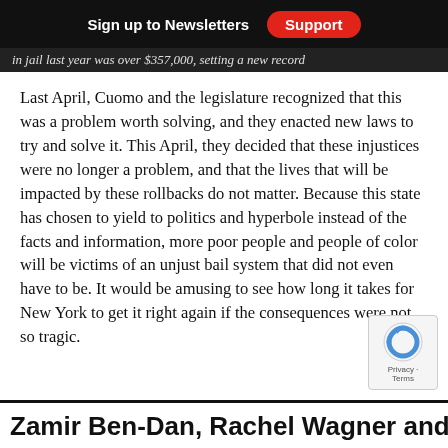Sign up to Newsletters  Support
in jail last year was over $357,000, setting a new record
Last April, Cuomo and the legislature recognized that this was a problem worth solving, and they enacted new laws to try and solve it. This April, they decided that these injustices were no longer a problem, and that the lives that will be impacted by these rollbacks do not matter. Because this state has chosen to yield to politics and hyperbole instead of the facts and information, more poor people and people of color will be victims of an unjust bail system that did not even have to be. It would be amusing to see how long it takes for New York to get it right again if the consequences were not so tragic.
Zamir Ben-Dan, Rachel Wagner and Sarah Young